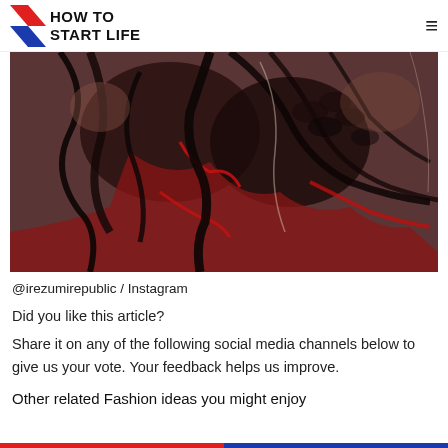HOW TO START LIFE
[Figure (photo): Close-up photo of a person's torso covered in a detailed biomechanical tattoo with black and red ink showing intricate designs resembling muscle and mechanical structures.]
@irezumirepublic / Instagram
Did you like this article?
Share it on any of the following social media channels below to give us your vote. Your feedback helps us improve.
Other related Fashion ideas you might enjoy